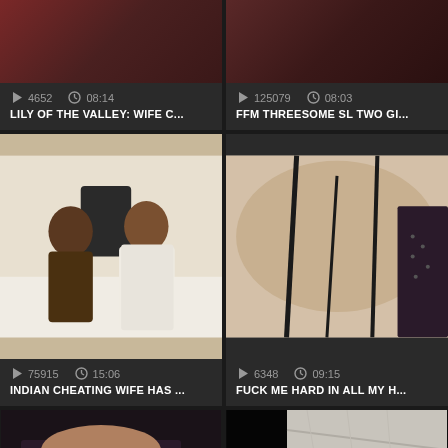[Figure (screenshot): Video thumbnail strip at top left - partial image of people]
4652   08:14
LILY OF THE VALLEY: WIFE C...
[Figure (screenshot): Video thumbnail strip at top right - partial image]
125079   08:03
FFM THREESOME SL TWO GI...
[Figure (photo): Indian couple sitting on bed - man with beard, woman in white]
75915   15:06
INDIAN CHEATING WIFE HAS ...
[Figure (photo): Close up body shot with black lingerie straps]
6348   09:15
FUCK ME HARD IN ALL MY H...
[Figure (photo): Bottom left partial thumbnail - dark lingerie]
[Figure (photo): Bottom right partial thumbnail - light fabric/sheets]